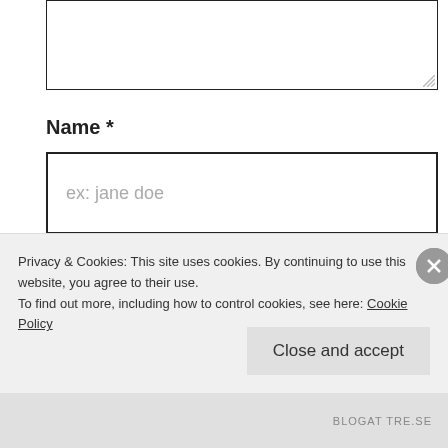[Figure (screenshot): Textarea input box (top of page, partially visible)]
Name *
[Figure (screenshot): Name input field with placeholder text 'ex: jane doe']
Email *
[Figure (screenshot): Email input field with placeholder text 'ex: janedoe@gmail.com']
Privacy & Cookies: This site uses cookies. By continuing to use this website, you agree to their use.
To find out more, including how to control cookies, see here: Cookie Policy
Close and accept